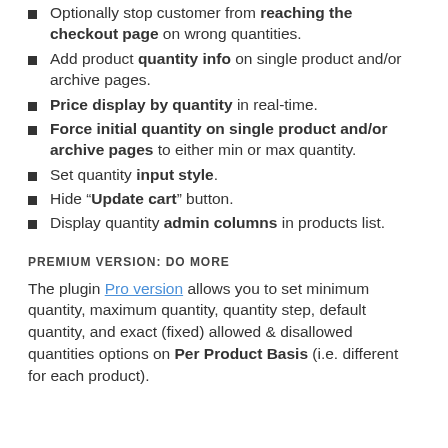Optionally stop customer from reaching the checkout page on wrong quantities.
Add product quantity info on single product and/or archive pages.
Price display by quantity in real-time.
Force initial quantity on single product and/or archive pages to either min or max quantity.
Set quantity input style.
Hide “Update cart” button.
Display quantity admin columns in products list.
PREMIUM VERSION: DO MORE
The plugin Pro version allows you to set minimum quantity, maximum quantity, quantity step, default quantity, and exact (fixed) allowed & disallowed quantities options on Per Product Basis (i.e. different for each product).